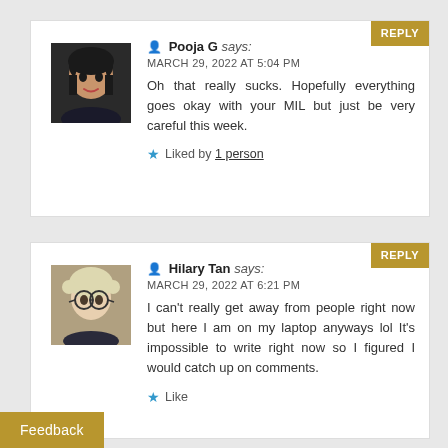REPLY
[Figure (photo): Profile photo of Pooja G, a woman with dark hair]
Pooja G says:
MARCH 29, 2022 AT 5:04 PM
Oh that really sucks. Hopefully everything goes okay with your MIL but just be very careful this week.
Liked by 1 person
REPLY
[Figure (photo): Profile photo of Hilary Tan, person with light hair and glasses]
Hilary Tan says:
MARCH 29, 2022 AT 6:21 PM
I can't really get away from people right now but here I am on my laptop anyways lol It's impossible to write right now so I figured I would catch up on comments.
Like
Feedback